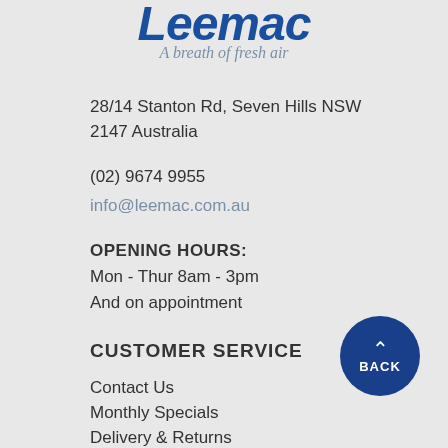[Figure (logo): Leemac logo with blue bold italic text and tagline 'A breath of fresh air' in grey italic script]
28/14 Stanton Rd, Seven Hills NSW 2147 Australia
(02) 9674 9955
info@leemac.com.au
OPENING HOURS:
Mon - Thur 8am - 3pm
And on appointment
CUSTOMER SERVICE
Contact Us
Monthly Specials
Delivery & Returns